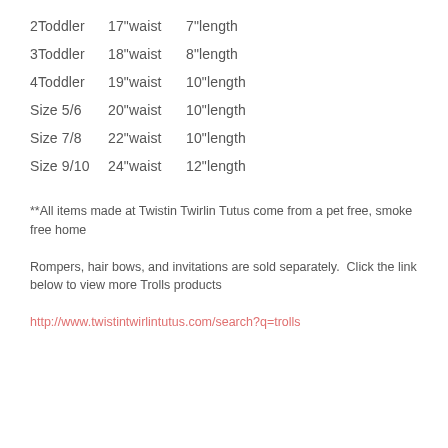2Toddler   17"waist   7"length
3Toddler   18"waist   8"length
4Toddler   19"waist   10"length
Size 5/6   20"waist   10"length
Size 7/8   22"waist   10"length
Size 9/10   24"waist   12"length
**All items made at Twistin Twirlin Tutus come from a pet free, smoke free home
Rompers, hair bows, and invitations are sold separately.  Click the link below to view more Trolls products
http://www.twistintwirlintutus.com/search?q=trolls